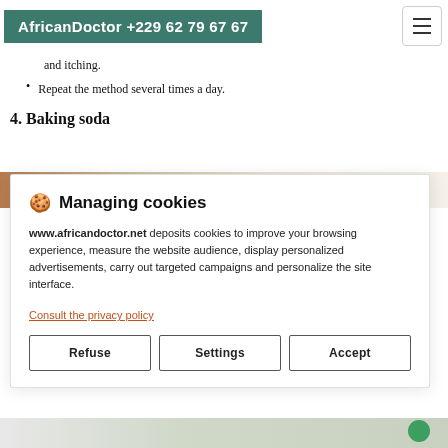AfricanDoctor +229 62 79 67 67
and itching.
Repeat the method several times a day.
4. Baking soda
[Figure (photo): Partial image of baking soda or related content, partially obscured by cookie modal]
Managing cookies

www.africandoctor.net deposits cookies to improve your browsing experience, measure the website audience, display personalized advertisements, carry out targeted campaigns and personalize the site interface.

Consult the privacy policy

Refuse   Settings   Accept